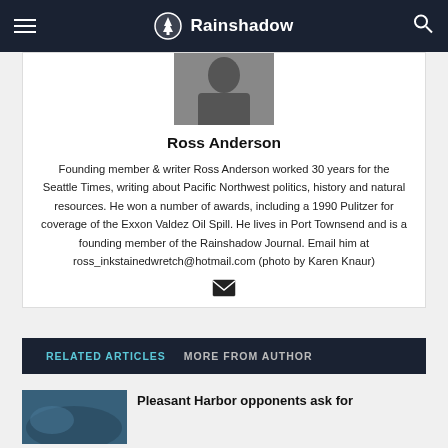Rainshadow
[Figure (photo): Author photo of Ross Anderson, black and white portrait, partial view]
Ross Anderson
Founding member & writer Ross Anderson worked 30 years for the Seattle Times, writing about Pacific Northwest politics, history and natural resources. He won a number of awards, including a 1990 Pulitzer for coverage of the Exxon Valdez Oil Spill. He lives in Port Townsend and is a founding member of the Rainshadow Journal. Email him at ross_inkstainedwretch@hotmail.com (photo by Karen Knaur)
RELATED ARTICLES   MORE FROM AUTHOR
Pleasant Harbor opponents ask for